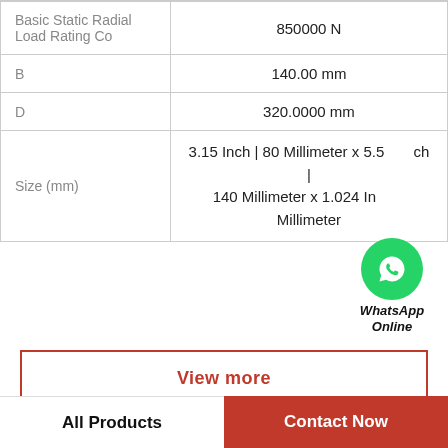| Property | Value |
| --- | --- |
| Basic Static Radial Load Rating Co | 850000 N |
| B | 140.00 mm |
| D | 320.0000 mm |
| Size (mm) | 3.15 Inch | 80 Millimeter x 5.5 Inch | 140 Millimeter x 1.024 Inch | 26 Millimeter |
[Figure (logo): WhatsApp Online badge with green WhatsApp icon and italic bold text 'WhatsApp Online']
View more
Company Profile
All Products | Contact Now